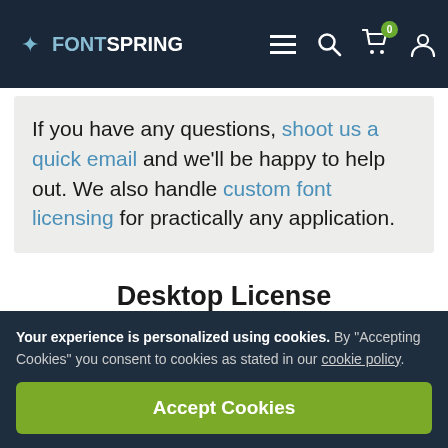FONTSPRING navigation bar with logo, menu, search, cart (0), and account icons
If you have any questions, shoot us a quick email and we'll be happy to help out. We also handle custom font licensing for practically any application.
Desktop License
Your experience is personalized using cookies. By "Accepting Cookies" you consent to cookies as stated in our cookie policy.
Accept Cookies